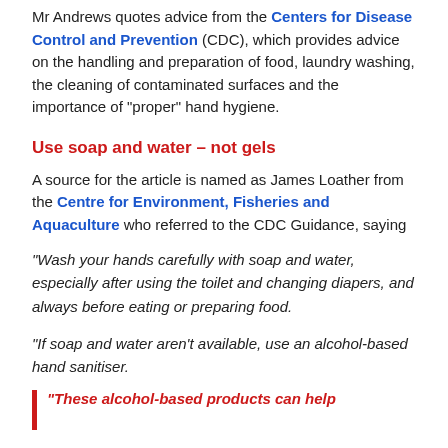Mr Andrews quotes advice from the Centers for Disease Control and Prevention (CDC), which provides advice on the handling and preparation of food, laundry washing, the cleaning of contaminated surfaces and the importance of “proper” hand hygiene.
Use soap and water – not gels
A source for the article is named as James Loather from the Centre for Environment, Fisheries and Aquaculture who referred to the CDC Guidance, saying
“Wash your hands carefully with soap and water, especially after using the toilet and changing diapers, and always before eating or preparing food.
“If soap and water aren’t available, use an alcohol-based hand sanitiser.
“These alcohol-based products can help